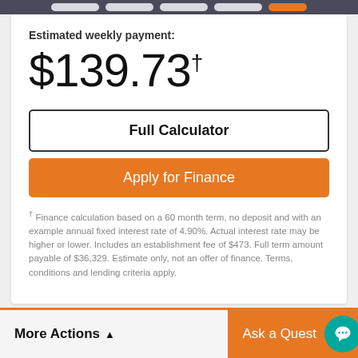Estimated weekly payment:
$139.73†
Full Calculator
Apply for Finance
† Finance calculation based on a 60 month term, no deposit and with an example annual fixed interest rate of 4.90%. Actual interest rate may be higher or lower. Includes an establishment fee of $473. Full term amount payable of $36,329. Estimate only, not an offer of finance. Terms, conditions and lending criteria apply.
More Actions
Ask a Quest…